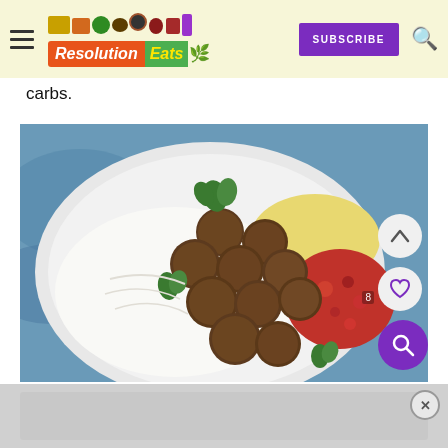Resolution Eats — SUBSCRIBE
carbs.
[Figure (photo): A white plate with Swedish-style meatballs served on top of mashed cauliflower/potatoes, with a yellow sauce and red cranberry/lingonberry sauce on the side, garnished with fresh parsley. Blue decorative cloth in background.]